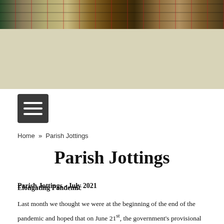[Figure (photo): Church stained glass window banner image with dark green background and decorative panels]
Home » Parish Jottings
Parish Jottings
Parish Jottings - July 2021
Elongating Pandemic
Last month we thought we were at the beginning of the end of the pandemic and hoped that on June 21st, the government's provisional date for the ending of all restrictions, would materialise. Unfortunately, we are now in the grip of a third wave of the pandemic caused by a new and more infectious strain of the virus, called the 'delta' variant, which is spreading like a fire, due to human behaviour. We are constantly told that to avoid